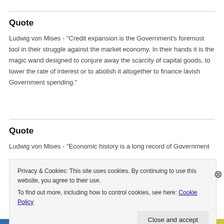Quote
Ludwig von Mises - "Credit expansion is the Government's foremost tool in their struggle against the market economy. In their hands it is the magic wand designed to conjure away the scarcity of capital goods, to lower the rate of interest or to abolish it altogether to finance lavish Government spending."
Quote
Ludwig von Mises - "Economic history is a long record of Government
Privacy & Cookies: This site uses cookies. By continuing to use this website, you agree to their use.
To find out more, including how to control cookies, see here: Cookie Policy